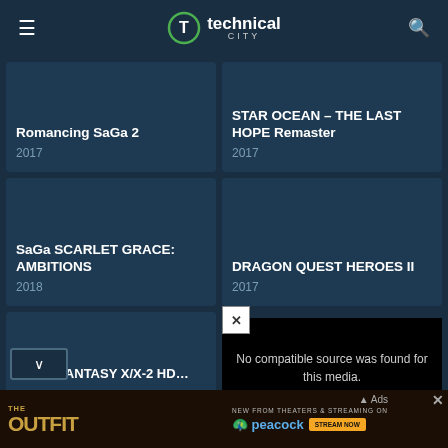technical city
Romancing SaGa 2
2017
STAR OCEAN – THE LAST HOPE Remaster
2017
SaGa SCARLET GRACE: AMBITIONS
2018
DRAGON QUEST HEROES II
2017
MOBIUS FINAL FANTASY
2017
No compatible source was found for this media.
FINAL FANTASY X/X-2 HD...
[Figure (screenshot): Advertisement banner for The Outfit movie with Peacock streaming]